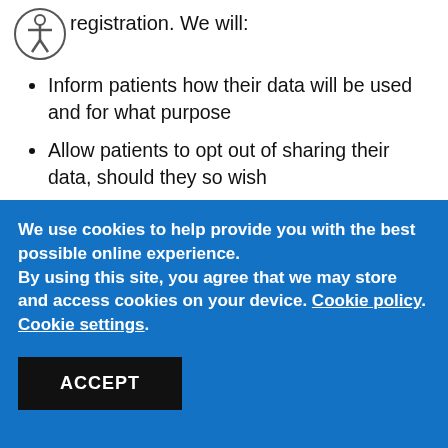registration. We will:
Inform patients how their data will be used and for what purpose
Allow patients to opt out of sharing their data, should they so wish
We use cookies to help provide you with the best possible online experience.
By using this site, you agree that we may store and access cookies on your device. Cookie policy. Cookie settings.
ACCEPT